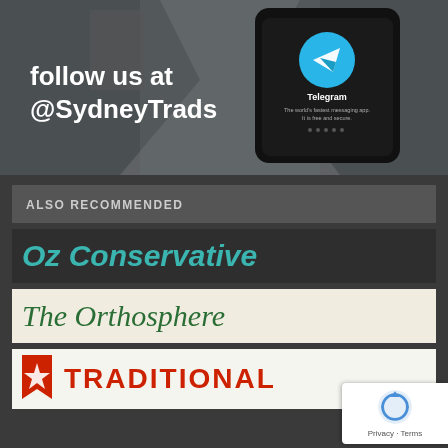[Figure (photo): Promotional image with a smartphone showing the Telegram app, placed on a grey fabric/suit background with a decorative tie/accessory. White bold text overlay reads 'follow us at @SydneyTrads'.]
ALSO RECOMMENDED
[Figure (logo): Oz Conservative logo — large teal/turquoise italic bold text on dark background reading 'Oz Conservative']
[Figure (logo): The Orthosphere logo — large dark green italic serif text on cream/beige background reading 'The Orthosphere']
[Figure (logo): Traditional logo — red bold uppercase text 'TRADITIONAL' partially visible with a small icon on left, on light background]